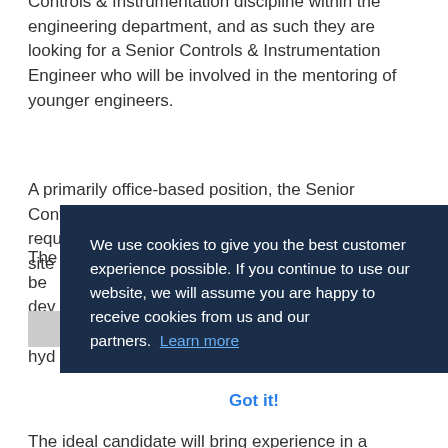Controls & Instrumentation discipline within the engineering department, and as such they are looking for a Senior Controls & Instrumentation Engineer who will be involved in the mentoring of younger engineers.
A primarily office-based position, the Senior Controls & Instrumentation Engineer will also be required to travel for on-site sales support visits, site surveys, installations, and commissioning across the Americas (North, Central and South) spending time...
The... be... development... development... hydro...
The...
The ideal candidate will bring experience in a similar
[Figure (screenshot): Cookie consent overlay with dark navy background. Text reads: 'We use cookies to give you the best customer experience possible. If you continue to use our website, we will assume you are happy to receive cookies from us and our partners. Learn more'. Below is a white button area with 'Got it!' in blue text.]